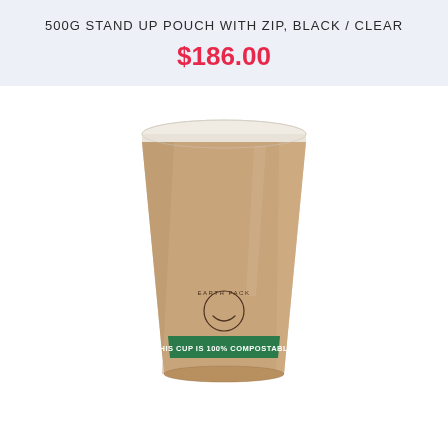500G STAND UP POUCH WITH ZIP, BLACK / CLEAR
$186.00
[Figure (photo): A kraft paper compostable coffee cup with a white lid, featuring an Earth Pack logo smiley face and a green band reading 'THIS CUP IS 100% COMPOSTABLE']